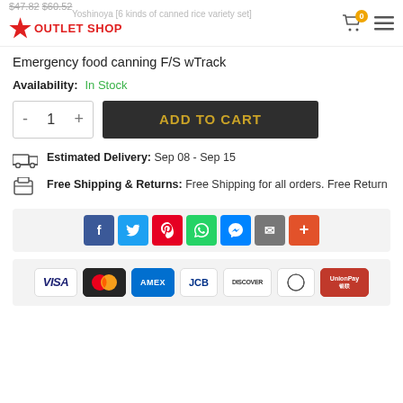Outlet Shop — $47.82 $60.52
Yoshinoya [6 kinds of canned rice variety set] Emergency food canning F/S wTrack
Availability: In Stock
- 1 +  ADD TO CART
Estimated Delivery: Sep 08 - Sep 15
Free Shipping & Returns: Free Shipping for all orders. Free Return
[Figure (infographic): Social sharing buttons: Facebook, Twitter, Pinterest, WhatsApp, Messenger, Email, More]
[Figure (infographic): Payment method icons: VISA, Mastercard, AMEX, JCB, Discover, Diners Club, UnionPay]